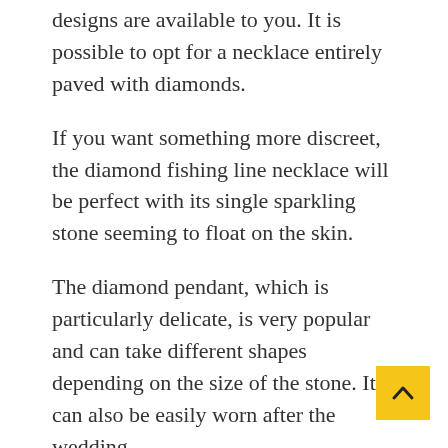designs are available to you. It is possible to opt for a necklace entirely paved with diamonds.
If you want something more discreet, the diamond fishing line necklace will be perfect with its single sparkling stone seeming to float on the skin.
The diamond pendant, which is particularly delicate, is very popular and can take different shapes depending on the size of the stone. It can also be easily worn after the wedding.
Sapphires
Symbol of purity of feelings and union, the